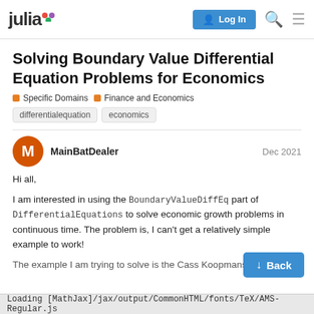julia | Log In
Solving Boundary Value Differential Equation Problems for Economics
Specific Domains | Finance and Economics
differentialequation | economics
MainBatDealer  Dec 2021
Hi all,

I am interested in using the BoundaryValueDiffEq part of DifferentialEquations to solve economic growth problems in continuous time. The problem is, I can't get a relatively simple example to work!

The example I am trying to solve is the Cass Koopmans...
Loading [MathJax]/jax/output/CommonHTML/fonts/TeX/AMS-Regular.js